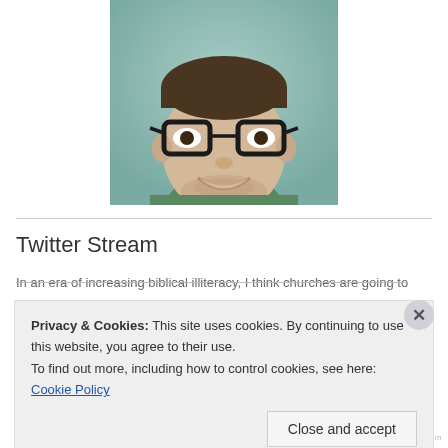[Figure (photo): Headshot photo of a smiling man with glasses and beard, wearing a green shirt, against a teal/green background]
Twitter Stream
In an era of increasing biblical illiteracy, I think churches are going to
Privacy & Cookies: This site uses cookies. By continuing to use this website, you agree to their use.
To find out more, including how to control cookies, see here: Cookie Policy
Close and accept